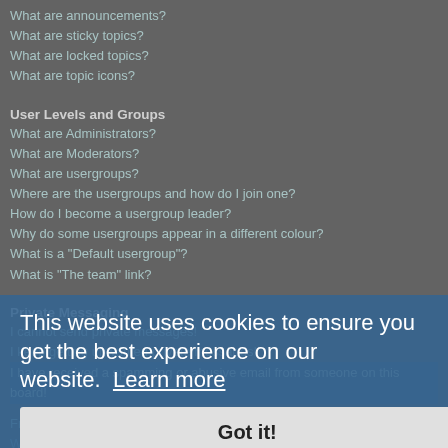What are announcements?
What are sticky topics?
What are locked topics?
What are topic icons?
User Levels and Groups
What are Administrators?
What are Moderators?
What are usergroups?
Where are the usergroups and how do I join one?
How do I become a usergroup leader?
Why do some usergroups appear in a different colour?
What is a "Default usergroup"?
What is "The team" link?
Private Messaging
I cannot send private messages!
I keep getting unwanted private messages!
I have received a spamming or abusive email from someone on this board!
Friends and Foes
What are my Friends and Foes lists?
How can I add / remove users to my Friends or Foes list?
Searching the Forums
How can I search a forum or forums?
Why does my search return no results?
Why does my search return a blank page!?
This website uses cookies to ensure you get the best experience on our website. Learn more
Got it!